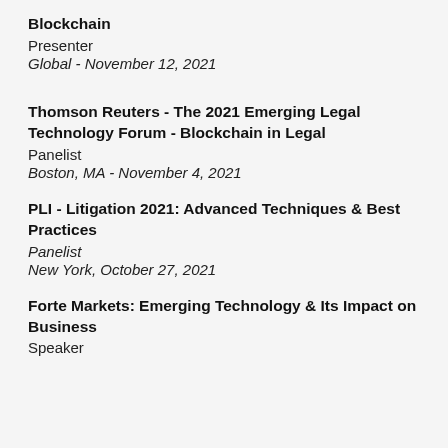Blockchain
Presenter
Global - November 12, 2021
Thomson Reuters - The 2021 Emerging Legal Technology Forum - Blockchain in Legal
Panelist
Boston, MA - November 4, 2021
PLI - Litigation 2021: Advanced Techniques & Best Practices
Panelist
New York, October 27, 2021
Forte Markets: Emerging Technology & Its Impact on Business
Speaker